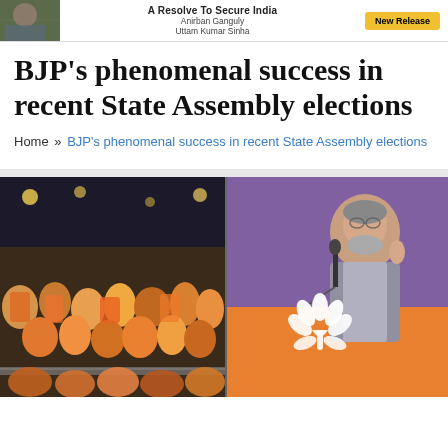[Figure (photo): Advertisement banner with military/political figure photo on left, text 'A Resolve To Secure India' in center, author names 'Anirban Ganguly, Uttam Kumar Sinha', and yellow 'New Release' button on right]
BJP's phenomenal success in recent State Assembly elections
Home » BJP's phenomenal success in recent State Assembly elections
[Figure (photo): Two side-by-side photos: left shows a large crowd of BJP supporters gathered at night event, right shows Prime Minister Narendra Modi speaking at a podium with BJP lotus symbol visible]